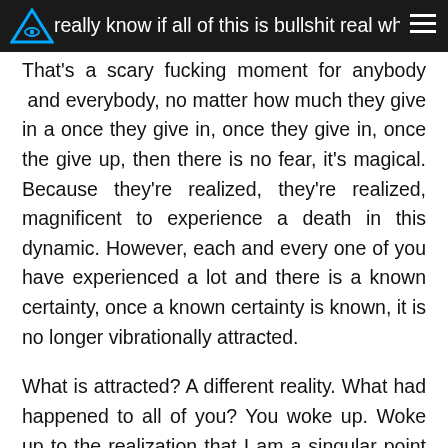really know if all of this is bullshit real what is the tr...
That's a scary fucking moment for anybody and everybody, no matter how much they give in a once they give in, once they give in, once the give up, then there is no fear, it's magical. Because they're realized, they're realized, magnificent to experience a death in this dynamic. However, each and every one of you have experienced a lot and there is a known certainty, once a known certainty is known, it is no longer vibrationally attracted.
What is attracted? A different reality. What had happened to all of you? You woke up. Woke up to the realization that I am a singular point of existence. I truly know that within my kingdom within myself of relationship. My egoic mind, my structure mind, my brrrr mind, doesn't matter, has